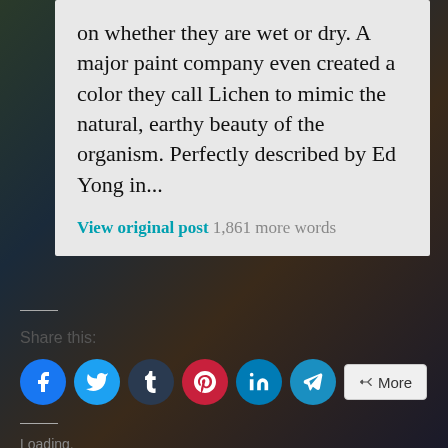on whether they are wet or dry. A major paint company even created a color they call Lichen to mimic the natural, earthy beauty of the organism. Perfectly described by Ed Yong in...
View original post 1,861 more words
Share this:
[Figure (infographic): Social sharing buttons: Facebook (blue circle), Twitter (light blue circle), Tumblr (dark navy circle), Pinterest (red circle), LinkedIn (teal circle), Telegram (teal circle), and a More button]
Loading.